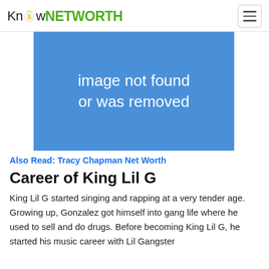KnowNETWORTH
[Figure (illustration): Blue placeholder box with text 'image not found or was removed']
Also Read: Tracy Chapman Net Worth
Career of King Lil G
King Lil G started singing and rapping at a very tender age. Growing up, Gonzalez got himself into gang life where he used to sell and do drugs. Before becoming King Lil G, he started his music career with Lil Gangster